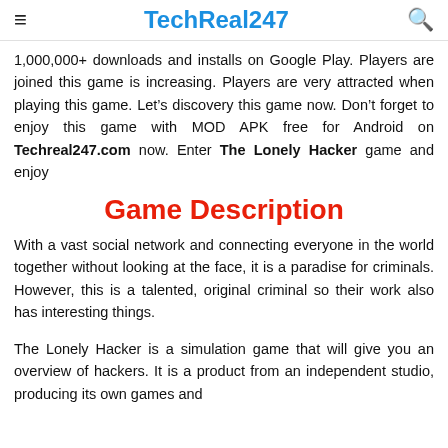TechReal247
1,000,000+ downloads and installs on Google Play. Players are joined this game is increasing. Players are very attracted when playing this game. Let’s discovery this game now. Don’t forget to enjoy this game with MOD APK free for Android on Techreal247.com now. Enter The Lonely Hacker game and enjoy
Game Description
With a vast social network and connecting everyone in the world together without looking at the face, it is a paradise for criminals. However, this is a talented, original criminal so their work also has interesting things.
The Lonely Hacker is a simulation game that will give you an overview of hackers. It is a product from an independent studio, producing its own games and